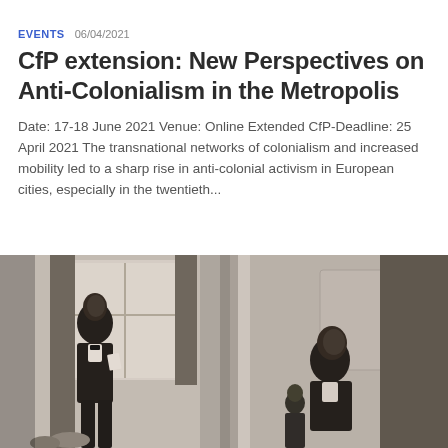EVENTS  06/04/2021
CfP extension: New Perspectives on Anti-Colonialism in the Metropolis
Date: 17-18 June 2021 Venue: Online Extended CfP-Deadline: 25 April 2021 The transnational networks of colonialism and increased mobility led to a sharp rise in anti-colonial activism in European cities, especially in the twentieth...
[Figure (photo): Black and white historical photograph showing two African men, one standing at a podium or speaking position on the left, and another seated or standing on the right side of the image, in what appears to be a formal interior setting with curtains and architectural details.]